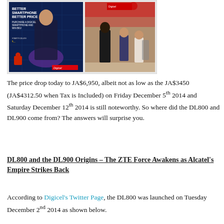[Figure (photo): Two side-by-side images: left shows a Digicel advertisement banner reading 'BETTER SMARTPHONE BETTER PRICE – PURCHASE A DIGICEL SMARTPHONE AND WIN BIG!' with a woman and a phone; right shows people in what appears to be a store or shopping area.]
The price drop today to JA$6,950, albeit not as low as the JA$3450 (JA$4312.50 when Tax is Included) on Friday December 5th 2014 and Saturday December 12th 2014 is still noteworthy. So where did the DL800 and DL900 come from? The answers will surprise you.
DL800 and the DL900 Origins – The ZTE Force Awakens as Alcatel's Empire Strikes Back
According to Digicel's Twitter Page, the DL800 was launched on Tuesday December 2nd 2014 as shown below.